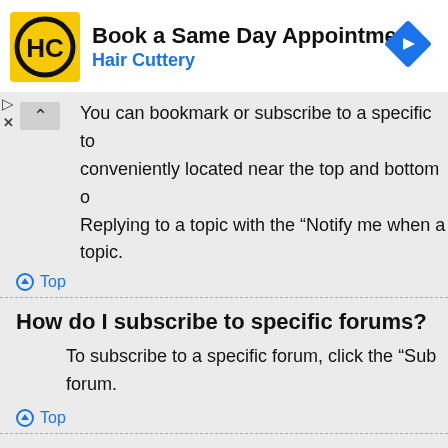[Figure (screenshot): Hair Cuttery advertisement banner: logo with HC initials on yellow background, text 'Book a Same Day Appointment' and 'Hair Cuttery' in blue, blue diamond arrow icon on right]
You can bookmark or subscribe to a specific to... conveniently located near the top and bottom o... Replying to a topic with the "Notify me when a... topic.
Top
How do I subscribe to specific forums?
To subscribe to a specific forum, click the "Sub... forum.
Top
How do I remove my subscriptions?
To remove your subscriptions, go to your User...